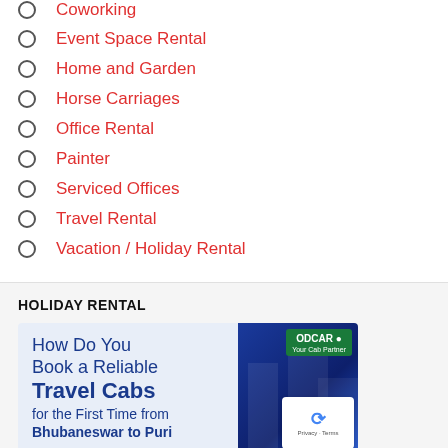Coworking (partial)
Event Space Rental
Home and Garden
Horse Carriages
Office Rental
Painter
Serviced Offices
Travel Rental
Vacation / Holiday Rental
HOLIDAY RENTAL
[Figure (illustration): ODCAR cab partner advertisement: 'How Do You Book a Reliable Travel Cabs for the First Time from Bhubaneswar to Puri' with blue building background and reCAPTCHA overlay]